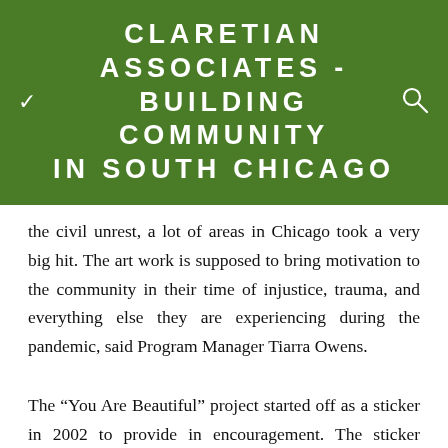CLARETIAN ASSOCIATES - BUILDING COMMUNITY IN SOUTH CHICAGO
the civil unrest, a lot of areas in Chicago took a very big hit. The art work is supposed to bring motivation to the community in their time of injustice, trauma, and everything else they are experiencing during the pandemic, said Program Manager Tiarra Owens.
The “You Are Beautiful” project started off as a sticker in 2002 to provide in encouragement. The sticker evolved into installations and murals. “It brings color to the neighborhood and inspiration to see art around.” Matthew Hoffman the designer of the